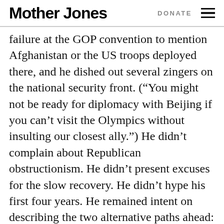Mother Jones   DONATE
failure at the GOP convention to mention Afghanistan or the US troops deployed there, and he dished out several zingers on the national security front. (“You might not be ready for diplomacy with Beijing if you can’t visit the Olympics without insulting our closest ally.”) He didn’t complain about Republican obstructionism. He didn’t present excuses for the slow recovery. He didn’t hype his first four years. He remained intent on describing the two alternative paths ahead:
This is the choice we now face. This is what the election comes down to. Over and over, we have been told by our opponents that bigger